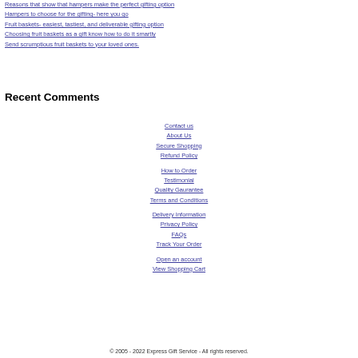Reasons that show that hampers make the perfect gifting option
Hampers to choose for the gifting- here you go
Fruit baskets- easiest, tastiest, and deliverable gifting option
Choosing fruit baskets as a gift know how to do it smartly
Send scrumptious fruit baskets to your loved ones.
Recent Comments
Contact us
About Us
Secure Shopping
Refund Policy
How to Order
Testimonial
Quality Gaurantee
Terms and Conditions
Delivery Information
Privacy Policy
FAQs
Track Your Order
Open an account
View Shopping Cart
© 2005 - 2022 Express Gift Service - All rights reserved.